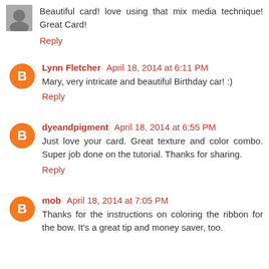Beautiful card! love using that mix media technique! Great Card!
Reply
Lynn Fletcher  April 18, 2014 at 6:11 PM
Mary, very intricate and beautiful Birthday car! :)
Reply
dyeandpigment  April 18, 2014 at 6:55 PM
Just love your card. Great texture and color combo. Super job done on the tutorial. Thanks for sharing.
Reply
mob  April 18, 2014 at 7:05 PM
Thanks for the instructions on coloring the ribbon for the bow. It's a great tip and money saver, too.